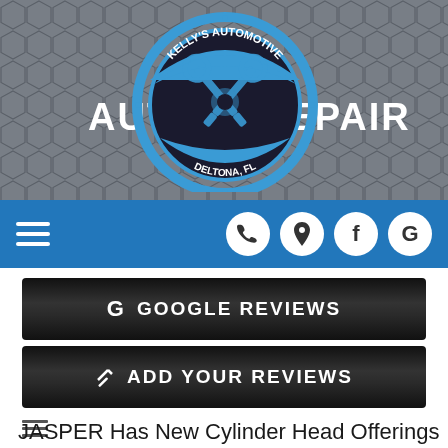[Figure (logo): Kelly's Automotive Auto Repair Deltona FL logo — circular badge with crossed wrenches/pistons, blue and white]
[Figure (other): Blue navigation bar with hamburger menu on left and four white circle icon buttons (phone, location pin, Facebook f, Google G) on right]
G GOOGLE REVIEWS
✏ ADD YOUR REVIEWS
JASPER Has New Cylinder Head Offerings